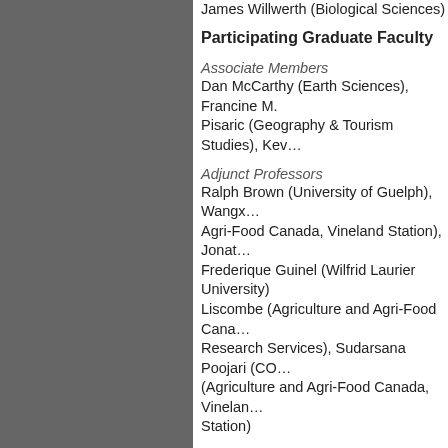James Willwerth (Biological Sciences)
Participating Graduate Faculty
Associate Members
Dan McCarthy (Earth Sciences), Francine M. Pisaric (Geography & Tourism Studies), Kev…
Adjunct Professors
Ralph Brown (University of Guelph), Wangx… Agri-Food Canada, Vineland Station), Jonat… Frederique Guinel (Wilfrid Laurier University), Liscombe (Agriculture and Agri-Food Cana… Research Services), Sudarsana Poojari (CO… (Agriculture and Agri-Food Canada, Vinelan… Station)
Emeritus Professors
Douglas H. Bruce (Biological Sciences), Ro…
Graduate Program Director
Ping Liang
pliang@brocku.ca
Graduate Administrative Coordinator
Elena Genkin